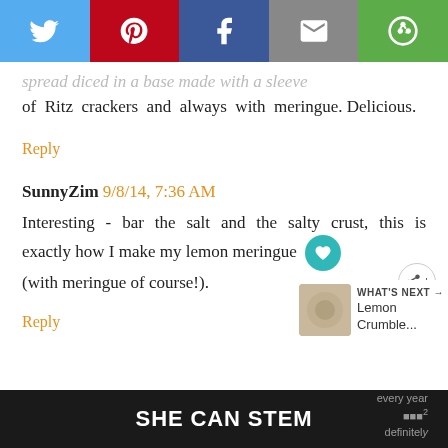[Figure (screenshot): Social share bar with Twitter, Pinterest, Facebook, Email, and other share buttons]
of Ritz crackers and always with meringue. Delicious.
Reply
SunnyZim 9/8/14, 7:36 AM
Interesting - bar the salt and the salty crust, this is exactly how I make my lemon meringue (with meringue of course!).
Reply
Anonymous 9/16/14, 9:18 PM
SHE CAN STEM